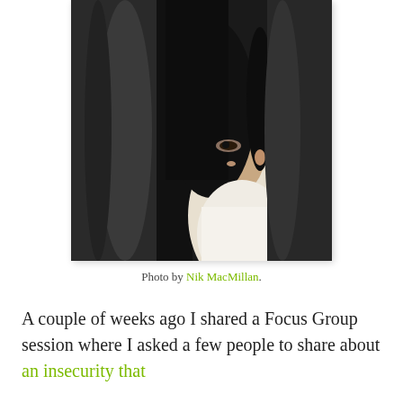[Figure (photo): A woman with long dark hair peeking out from behind a dark gray curtain, wearing a white top. The image is high-contrast and moody, suggesting themes of hiding or insecurity.]
Photo by Nik MacMillan.
A couple of weeks ago I shared a Focus Group session where I asked a few people to share about an insecurity that